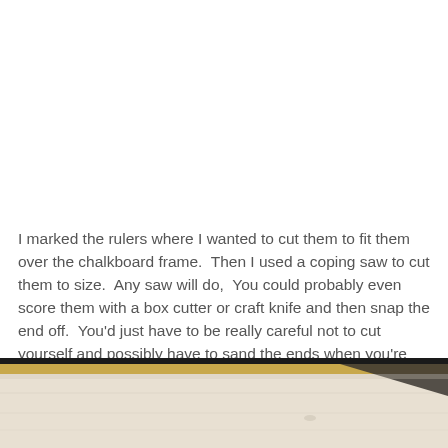I marked the rulers where I wanted to cut them to fit them over the chalkboard frame.  Then I used a coping saw to cut them to size.  Any saw will do,  You could probably even score them with a box cutter or craft knife and then snap the end off.  You'd just have to be really careful not to cut yourself and possibly have to sand the ends when you're done.
[Figure (photo): Bottom portion of image showing a light-colored wooden surface with a dark diagonal element crossing the top of the strip.]